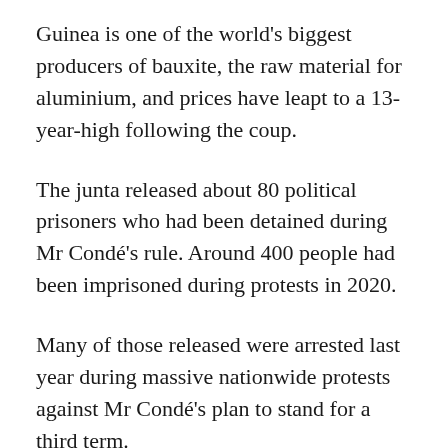Guinea is one of the world's biggest producers of bauxite, the raw material for aluminium, and prices have leapt to a 13-year-high following the coup.
The junta released about 80 political prisoners who had been detained during Mr Condé's rule. Around 400 people had been imprisoned during protests in 2020.
Many of those released were arrested last year during massive nationwide protests against Mr Condé's plan to stand for a third term.
The BBC's Alhassan Sillah in the capital, Conakry, says the most prominent of the freed prisoners was Oumar Sylla, known as Foniké Mengué, who went on hunger strike last December.